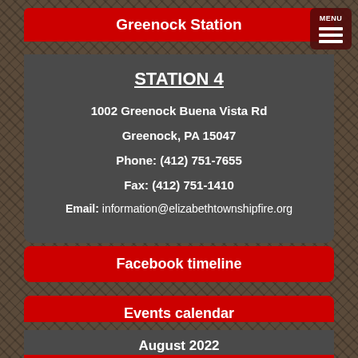Greenock Station
STATION 4
1002 Greenock Buena Vista Rd
Greenock, PA 15047
Phone: (412) 751-7655
Fax: (412) 751-1410
Email: information@elizabethtownshipfire.org
Facebook timeline
Events calendar
August 2022